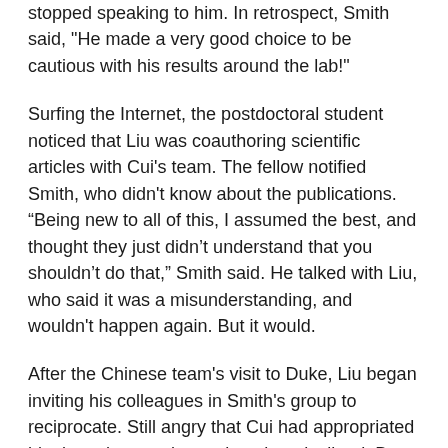stopped speaking to him. In retrospect, Smith said, "He made a very good choice to be cautious with his results around the lab!"
Surfing the Internet, the postdoctoral student noticed that Liu was coauthoring scientific articles with Cui's team. The fellow notified Smith, who didn't know about the publications. “Being new to all of this, I assumed the best, and thought they just didn't understand that you shouldn't do that,” Smith said. He talked with Liu, who said it was a misunderstanding, and wouldn't happen again. But it would.
After the Chinese team's visit to Duke, Liu began inviting his colleagues in Smith's group to reciprocate. Still angry that Cui had appropriated his data, the postdoctoral student declined. But Smith and several other members of his lab agreed to go to China. The offers were hard to resist, because the trips were free: China's government footed the bill.